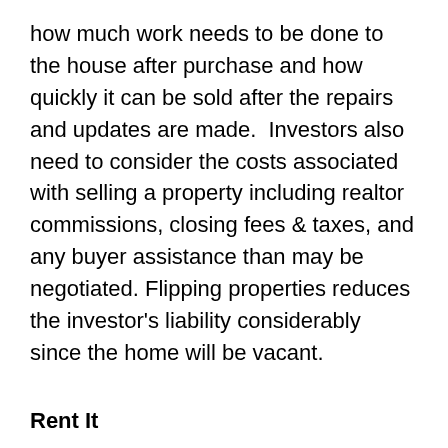how much work needs to be done to the house after purchase and how quickly it can be sold after the repairs and updates are made.  Investors also need to consider the costs associated with selling a property including realtor commissions, closing fees & taxes, and any buyer assistance than may be negotiated. Flipping properties reduces the investor's liability considerably since the home will be vacant.
Rent It
Renting a house is more appealing when the property purchase price isn't as deeply discounted than the average market prices or the average market prices don't allow for a reasonable profit of at least 10% of the initial purchase price after closing costs. Renting allows for the investor have a steady stream of income and a source of equity to